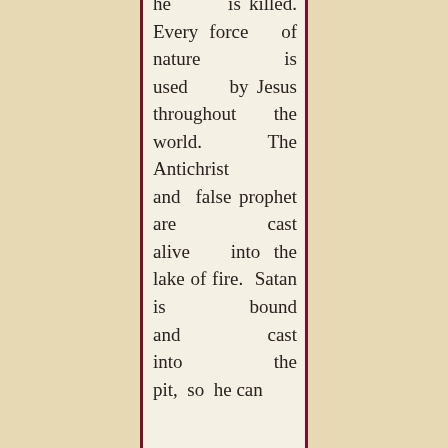he is killed. Every force of nature is used by Jesus throughout the world. The Antichrist and false prophet are cast alive into the lake of fire. Satan is bound and cast into the pit, so he can